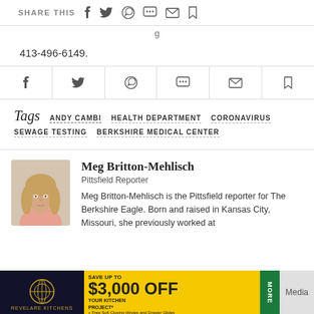SHARE THIS [social icons]
413-496-6149.
[Figure (other): Social share icon row: Facebook, Twitter, WhatsApp, chat bubble, email, bookmark]
Tags  ANDY CAMBI  HEALTH DEPARTMENT  CORONAVIRUS  SEWAGE TESTING  BERKSHIRE MEDICAL CENTER
[Figure (photo): Headshot photo of Meg Britton-Mehlisch, a young woman with long light brown hair, wearing a pink top]
Meg Britton-Mehlisch
Pittsfield Reporter
Meg Britton-Mehlisch is the Pittsfield reporter for The Berkshire Eagle. Born and raised in Kansas City, Missouri, she previously worked at
[Figure (other): Advertisement banner: Revelare Kitchens - Save up to $3,000 OFF your kitchen project. Free Soft Closing Hinges and Drawer Glides. More. Media.]